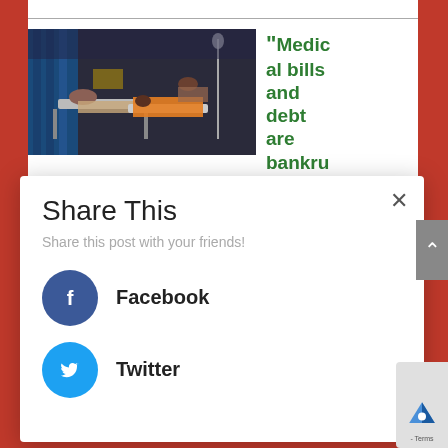[Figure (photo): Hospital ward scene with patients lying on beds in a crowded setting with blue curtain dividers in the background]
“Medical bills and debt are bankrupting
Indians who have Covid...
Share This
Share this post with your friends!
Facebook
Twitter